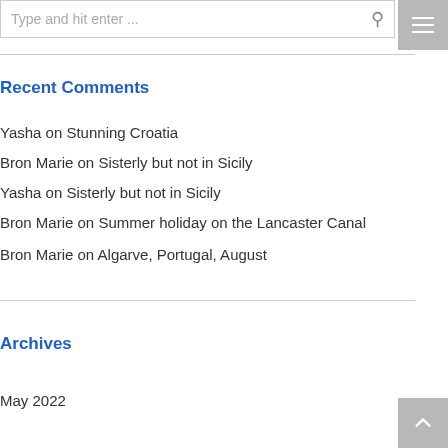Type and hit enter ...
Recent Comments
Yasha on Stunning Croatia
Bron Marie on Sisterly but not in Sicily
Yasha on Sisterly but not in Sicily
Bron Marie on Summer holiday on the Lancaster Canal
Bron Marie on Algarve, Portugal, August
Archives
May 2022